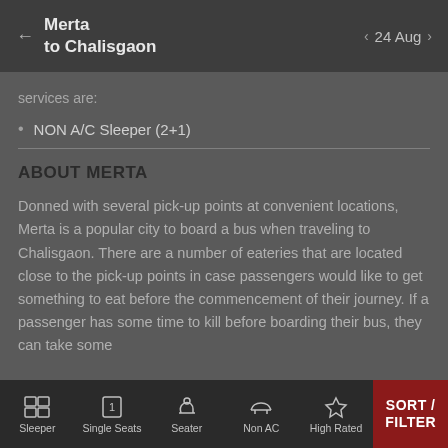Merta to Chalisgaon  24 Aug
services are:
NON A/C Sleeper (2+1)
ABOUT MERTA
Donned with several pick-up points at convenient locations, Merta is a popular city to board a bus when traveling to Chalisgaon. There are a number of eateries that are located close to the pick-up points in case passengers would like to get something to eat before the commencement of their journey. If a passenger has some time to kill before boarding their bus, they can take some
Sleeper | Single Seats | Seater | Non AC | High Rated | SORT / FILTER